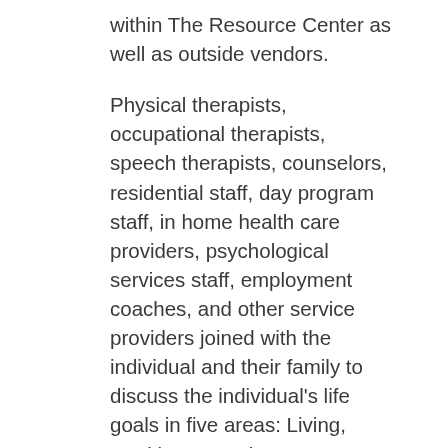within The Resource Center as well as outside vendors.
Physical therapists, occupational therapists, speech therapists, counselors, residential staff, day program staff, in home health care providers, psychological services staff, employment coaches, and other service providers joined with the individual and their family to discuss the individual's life goals in five areas: Living, Working, Learning, Recreation/Leisure, and Hopes and Dreams.
In holding service plan meetings, each